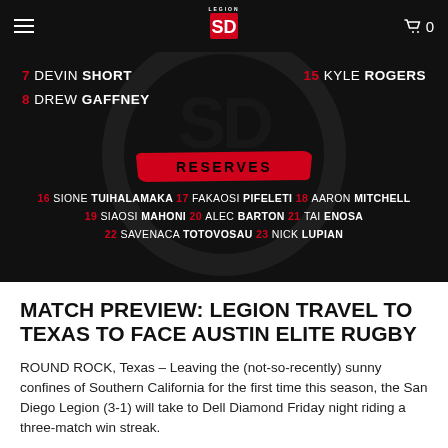SD Legion (navigation bar with logo, hamburger menu, cart)
[Figure (infographic): Dark background roster graphic showing SD Legion players. Top section: #7 Devin Short, #8 Drew Gaffney on left; #15 Kyle Rogers on right. RESERVES banner in red. Reserve players listed: 16 Sione Tuihalamaka, 17 Fakaosi Pifeleti, 18 Aaron Mitchell, 19 Siaosi Mahoni, 20 Alec Barton, 21 Tai Enosa, 22 Savenaca Totovosau, 23 Nick Lupian.]
MATCH PREVIEW: LEGION TRAVEL TO TEXAS TO FACE AUSTIN ELITE RUGBY
ROUND ROCK, Texas – Leaving the (not-so-recently) sunny confines of Southern California for the first time this season, the San Diego Legion (3-1) will take to Dell Diamond Friday night riding a three-match win streak.